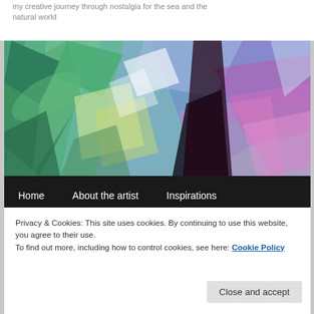my creative journey through nostalgia for the sea and the natural world
[Figure (illustration): Abstract colorful painting with tropical leaf and geometric shapes in greens, blues, purples, and pinks]
Home
About the artist
Inspirations
Exhibitions and Happenings
Publications
Reviews
Privacy & Cookies: This site uses cookies. By continuing to use this website, you agree to their use.
To find out more, including how to control cookies, see here: Cookie Policy
Close and accept
and Melancholy